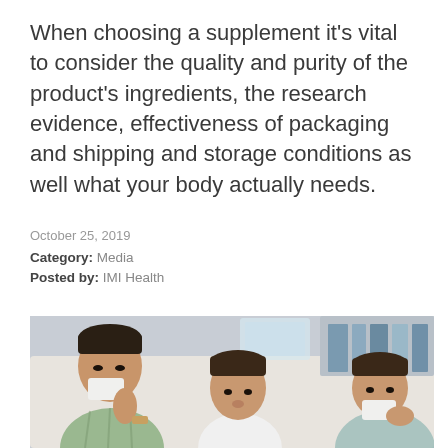When choosing a supplement it's vital to consider the quality and purity of the product's ingredients, the research evidence, effectiveness of packaging and shipping and storage conditions as well what your body actually needs.
October 25, 2019
Category: Media
Posted by: IMI Health
[Figure (photo): A father and two young boys sitting on a couch, all blowing their noses with tissues, appearing to be sick with colds or flu.]